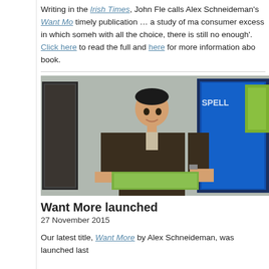Writing in the Irish Times, John Fle calls Alex Schneideman's Want Mo timely publication … a study of ma consumer excess in which someh with all the choice, there is still no enough'. Click here to read the ful and here for more information abo book.
[Figure (photo): A man in a dark brown blazer standing and holding a green book, smiling at the camera. Behind him are framed artworks on the wall including a blue illuminated piece with text 'SPELL' visible.]
Want More launched
27 November 2015
Our latest title, Want More by Alex Schneideman, was launched last